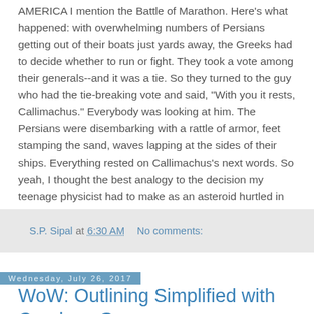AMERICA I mention the Battle of Marathon. Here's what happened: with overwhelming numbers of Persians getting out of their boats just yards away, the Greeks had to decide whether to run or fight. They took a vote among their generals--and it was a tie. So they turned to the guy who had the tie-breaking vote and said, "With you it rests, Callimachus." Everybody was looking at him. The Persians were disembarking with a rattle of armor, feet stamping the sand, waves lapping at the sides of their ships. Everything rested on Callimachus's next words. So yeah, I thought the best analogy to the decision my teenage physicist had to make as an asteroid hurtled in came from the fifth century BCE. That's not a connection you make unless you already know about Callimachus.
S.P. Sipal at 6:30 AM   No comments:
Wednesday, July 26, 2017
WoW: Outlining Simplified with Candace Granger